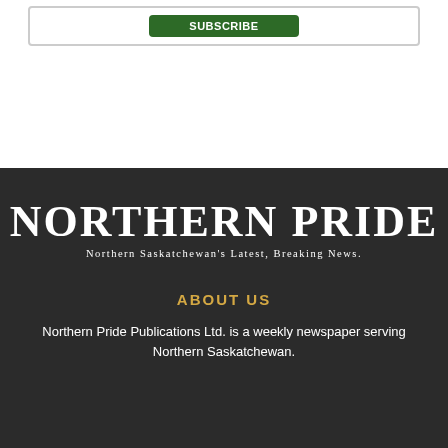[Figure (logo): Northern Pride newspaper logo with large bold serif text 'NORTHERN PRIDE' and subtitle 'Northern Saskatchewan's Latest, Breaking News.' on dark background]
ABOUT US
Northern Pride Publications Ltd. is a weekly newspaper serving Northern Saskatchewan.